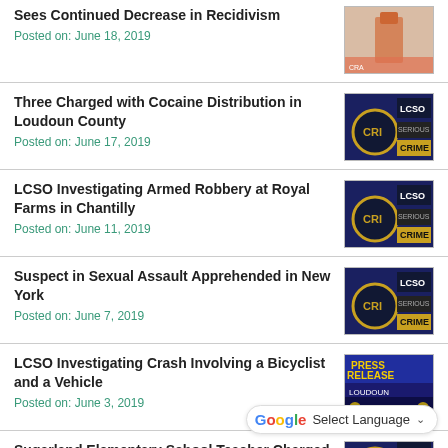Sees Continued Decrease in Recidivism
Posted on: June 18, 2019
Three Charged with Cocaine Distribution in Loudoun County
Posted on: June 17, 2019
LCSO Investigating Armed Robbery at Royal Farms in Chantilly
Posted on: June 11, 2019
Suspect in Sexual Assault Apprehended in New York
Posted on: June 7, 2019
LCSO Investigating Crash Involving a Bicyclist and a Vehicle
Posted on: June 3, 2019
Sugarland Elementary School Teacher Charged with Simple Assault